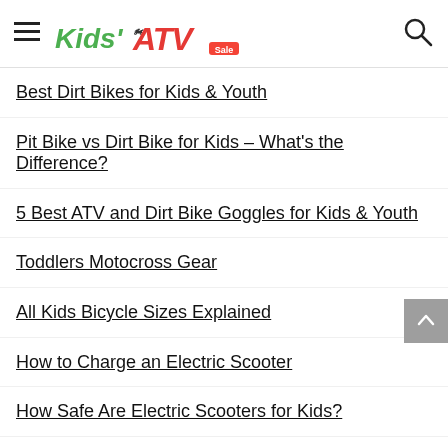Kids ATV Sale — navigation header with logo and search
Best Dirt Bikes for Kids & Youth
Pit Bike vs Dirt Bike for Kids – What's the Difference?
5 Best ATV and Dirt Bike Goggles for Kids & Youth
Toddlers Motocross Gear
All Kids Bicycle Sizes Explained
How to Charge an Electric Scooter
How Safe Are Electric Scooters for Kids?
Safety Tips and Gear for Kids Scooting
What is UTV & Why UTV is Called Side-By-Side ATV?